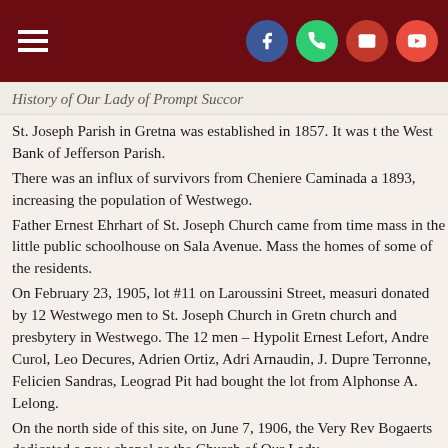Navigation header with hamburger menu and social icons (Facebook, phone, email, YouTube)
History of Our Lady of Prompt Succor
St. Joseph Parish in Gretna was established in 1857. It was the West Bank of Jefferson Parish.
There was an influx of survivors from Cheniere Caminada a 1893, increasing the population of Westwego.
Father Ernest Ehrhart of St. Joseph Church came from time mass in the little public schoolhouse on Sala Avenue. Mass the homes of some of the residents.
On February 23, 1905, lot #11 on Laroussini Street, measuri donated by 12 Westwego men to St. Joseph Church in Gretn church and presbytery in Westwego. The 12 men – Hypolit Ernest Lefort, Andre Curol, Leo Decures, Adrien Ortiz, Adri Arnaudin, J. Dupre Terronne, Felicien Sandras, Leograd Pit had bought the lot from Alphonse A. Lelong.
On the north side of this site, on June 7, 1906, the Very Rev Bogaerts dedicated a new chapel as the Church of Our Lady